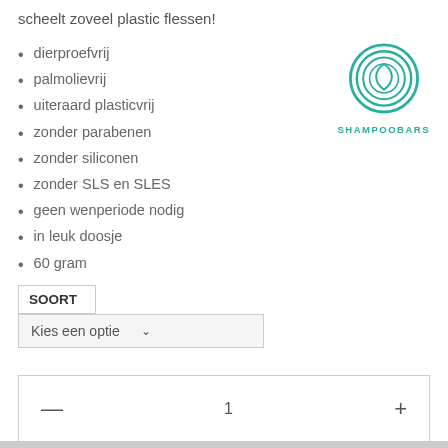scheelt zoveel plastic flessen!
[Figure (logo): Shampoobars logo: teal circular swirl icon with text SHAMPOOBARS below]
dierproefvrij
palmolievrij
uiteraard plasticvrij
zonder parabenen
zonder siliconen
zonder SLS en SLES
geen wenperiode nodig
in leuk doosje
60 gram
SOORT
Kies een optie